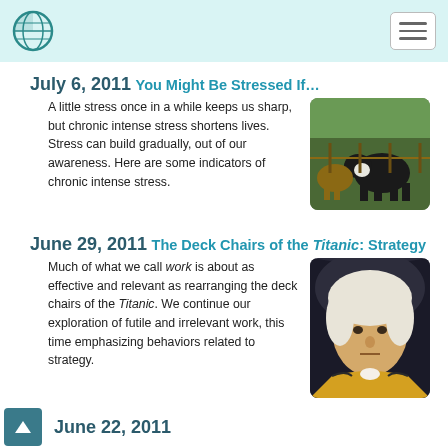July 6, 2011
You Might Be Stressed If…
A little stress once in a while keeps us sharp, but chronic intense stress shortens lives. Stress can build gradually, out of our awareness. Here are some indicators of chronic intense stress.
[Figure (photo): Photo of cattle/cows in a farm setting]
June 29, 2011
The Deck Chairs of the Titanic: Strategy
Much of what we call work is about as effective and relevant as rearranging the deck chairs of the Titanic. We continue our exploration of futile and irrelevant work, this time emphasizing behaviors related to strategy.
[Figure (photo): Portrait painting of a historical figure in colonial-era clothing]
June 22, 2011